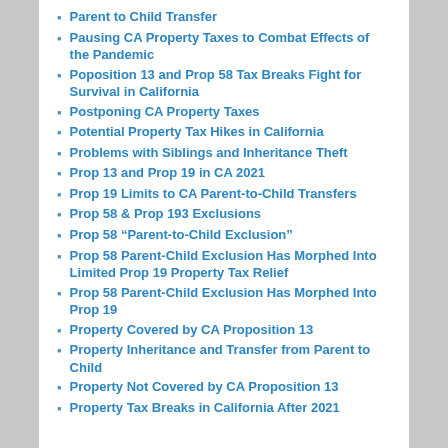Parent to Child Transfer
Pausing CA Property Taxes to Combat Effects of the Pandemic
Poposition 13 and Prop 58 Tax Breaks Fight for Survival in California
Postponing CA Property Taxes
Potential Property Tax Hikes in California
Problems with Siblings and Inheritance Theft
Prop 13 and Prop 19 in CA 2021
Prop 19 Limits to CA Parent-to-Child Transfers
Prop 58 & Prop 193 Exclusions
Prop 58 “Parent-to-Child Exclusion”
Prop 58 Parent-Child Exclusion Has Morphed Into Limited Prop 19 Property Tax Relief
Prop 58 Parent-Child Exclusion Has Morphed Into Prop 19
Property Covered by CA Proposition 13
Property Inheritance and Transfer from Parent to Child
Property Not Covered by CA Proposition 13
Property Tax Breaks in California After 2021